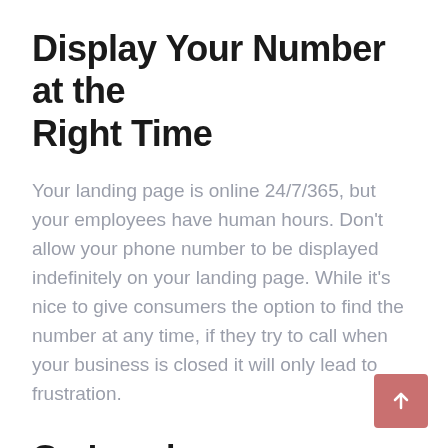Display Your Number at the Right Time
Your landing page is online 24/7/365, but your employees have human hours. Don't allow your phone number to be displayed indefinitely on your landing page. While it's nice to give consumers the option to find the number at any time, if they try to call when your business is closed it will only lead to frustration.
Go Local
Finally, if you operate a local business, it's best to use a local number. While most businesses like to offer both local and toll-free numbers, for some reason...